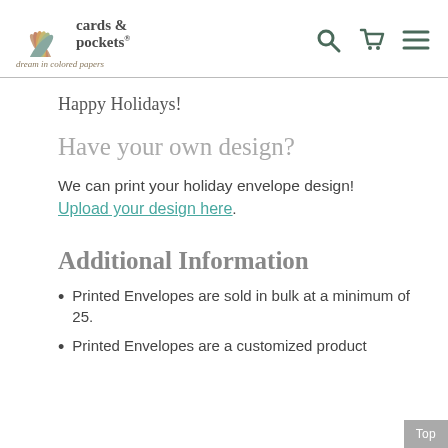[Figure (logo): Cards & Pockets logo with fan of colored paper swatches and tagline 'dream in colored papers']
Happy Holidays!
Have your own design?
We can print your holiday envelope design! Upload your design here.
Additional Information
Printed Envelopes are sold in bulk at a minimum of 25.
Printed Envelopes are a customized product